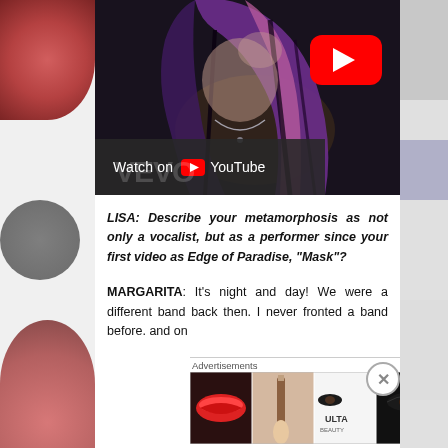[Figure (screenshot): YouTube video thumbnail showing a woman with purple and black hair, dark makeup, wearing jewelry. A red YouTube play button is visible in the upper right of the video. A 'Watch on YouTube' bar appears at the bottom of the thumbnail with the YouTube logo.]
LISA: Describe your metamorphosis as not only a vocalist, but as a performer since your first video as Edge of Paradise, “Mask”?
MARGARITA: It’s night and day! We were a different band back then. I never fronted a band before. and on
[Figure (photo): Advertisements banner for ULTA Beauty showing close-up images of lips with red lipstick, a makeup brush, eyes with dramatic makeup, the ULTA Beauty logo, more eye makeup, and a SHOP NOW button.]